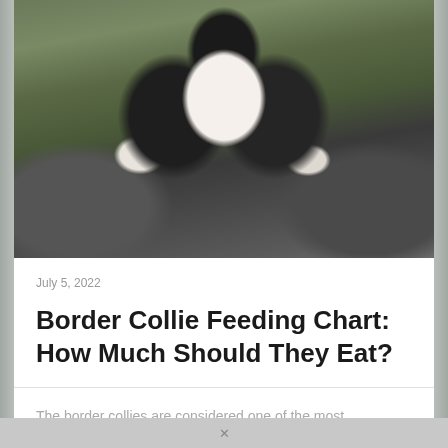[Figure (photo): Close-up photo of a Border Collie dog with black and white fur, looking slightly to the side, with a blurred green/brown outdoor background.]
July 5, 2022
Border Collie Feeding Chart: How Much Should They Eat?
The border collies are considered one of the most